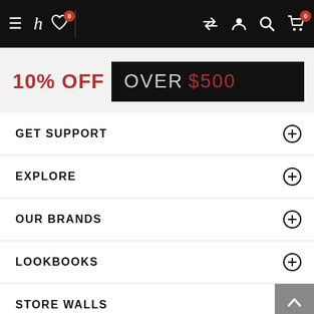Navigation bar with menu, h logo, heart (0), transfer, account, search, cart (0) icons
10% OFF OVER $500
GET SUPPORT
EXPLORE
OUR BRANDS
LOOKBOOKS
STORE WALLS
CATEGORIES